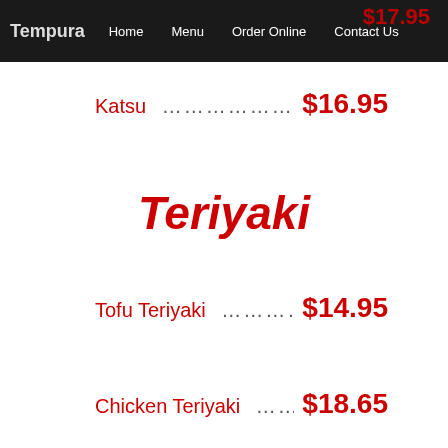Tempura  Home  Menu  Order Online  Contact Us  $17.95
Katsu ............................ $16.95
Teriyaki
Tofu Teriyaki .................. $14.95
Chicken Teriyaki .............. $18.65